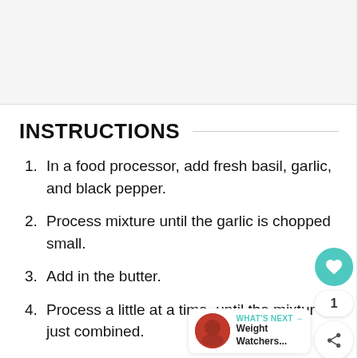INSTRUCTIONS
In a food processor, add fresh basil, garlic, and black pepper.
Process mixture until the garlic is chopped small.
Add in the butter.
Process a little at a time, until the mixture is just combined.
Transfer butter to a butter conta...
Refrigerate